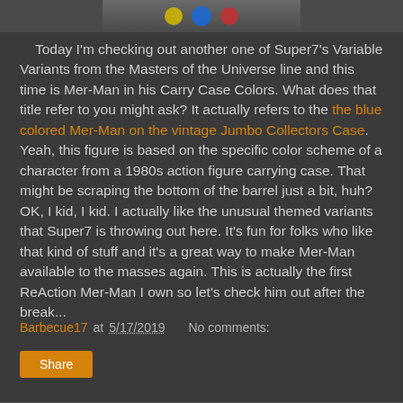[Figure (photo): Top portion of an image showing colorful action figures (yellow, blue, red) partially visible at the top of the page.]
Today I'm checking out another one of Super7's Variable Variants from the Masters of the Universe line and this time is Mer-Man in his Carry Case Colors. What does that title refer to you might ask? It actually refers to the the blue colored Mer-Man on the vintage Jumbo Collectors Case. Yeah, this figure is based on the specific color scheme of a character from a 1980s action figure carrying case. That might be scraping the bottom of the barrel just a bit, huh? OK, I kid, I kid. I actually like the unusual themed variants that Super7 is throwing out here. It's fun for folks who like that kind of stuff and it's a great way to make Mer-Man available to the masses again. This is actually the first ReAction Mer-Man I own so let's check him out after the break...
Barbecue17 at 5/17/2019   No comments:
Share